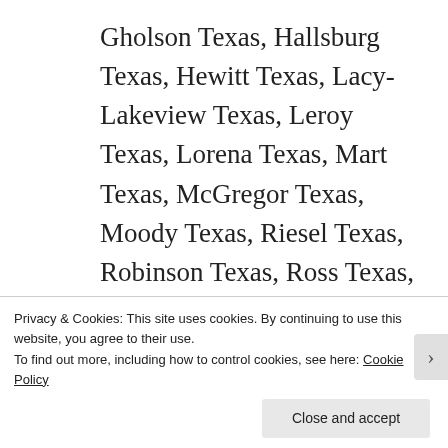Gholson Texas, Hallsburg Texas, Hewitt Texas, Lacy-Lakeview Texas, Leroy Texas, Lorena Texas, Mart Texas, McGregor Texas, Moody Texas, Riesel Texas, Robinson Texas, Ross Texas, Waco Texas, West Texas, Woodway, Bat, bats, bat in attic, attic bat, attic, coon, raccoon, raccoon in the attic, squirrel, squirrel in the attic, bird
Privacy & Cookies: This site uses cookies. By continuing to use this website, you agree to their use.
To find out more, including how to control cookies, see here: Cookie Policy